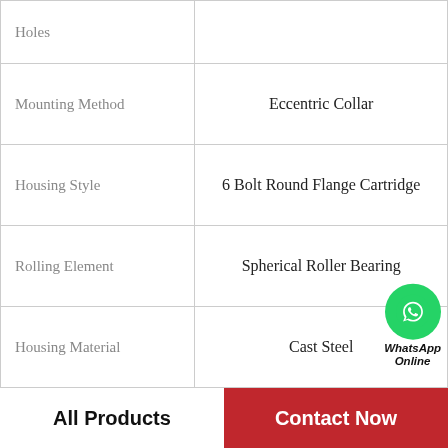| Property | Value |
| --- | --- |
| Holes |  |
| Mounting Method | Eccentric Collar |
| Housing Style | 6 Bolt Round Flange Cartridge |
| Rolling Element | Spherical Roller Bearing |
| Housing Material | Cast Steel |
| Expansion / Non-expansion | Expansion |
| Mounting Bolts | 7/8 Inch |
| Relubricatable | Yes |
|  |  |
All Products
Contact Now